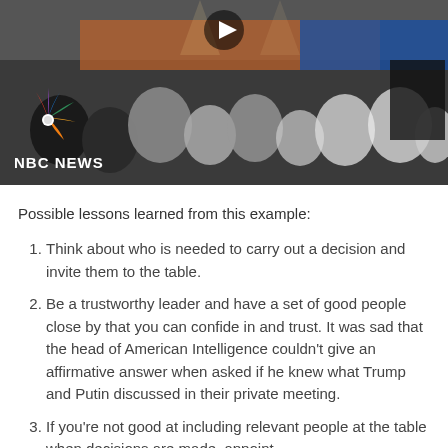[Figure (photo): NBC News video thumbnail showing audience at an event with NBC News peacock logo in lower left corner and a play button at the top center.]
Possible lessons learned from this example:
Think about who is needed to carry out a decision and invite them to the table.
Be a trustworthy leader and have a set of good people close by that you can confide in and trust. It was sad that the head of American Intelligence couldn't give an affirmative answer when asked if he knew what Trump and Putin discussed in their private meeting.
If you're not good at including relevant people at the table when decisions are made, appoint...